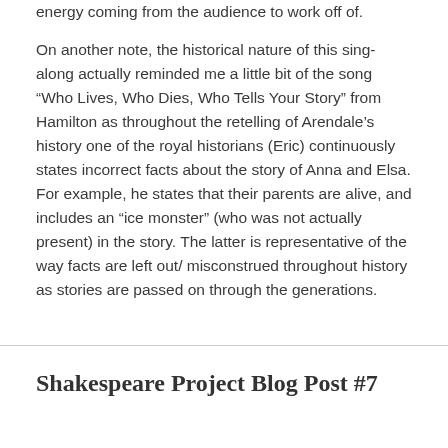energy coming from the audience to work off of.
On another note, the historical nature of this sing-along actually reminded me a little bit of the song “Who Lives, Who Dies, Who Tells Your Story” from Hamilton as throughout the retelling of Arendale’s history one of the royal historians (Eric) continuously states incorrect facts about the story of Anna and Elsa. For example, he states that their parents are alive, and includes an “ice monster” (who was not actually present) in the story. The latter is representative of the way facts are left out/ misconstrued throughout history as stories are passed on through the generations.
Shakespeare Project Blog Post #7